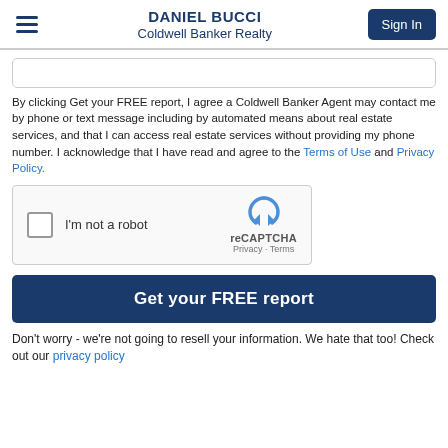DANIEL BUCCI
Coldwell Banker Realty
By clicking Get your FREE report, I agree a Coldwell Banker Agent may contact me by phone or text message including by automated means about real estate services, and that I can access real estate services without providing my phone number. I acknowledge that I have read and agree to the Terms of Use and Privacy Policy.
[Figure (other): reCAPTCHA widget with checkbox labeled 'I'm not a robot' and reCAPTCHA logo with Privacy - Terms links]
Get your FREE report
Don't worry - we're not going to resell your information. We hate that too! Check out our privacy policy